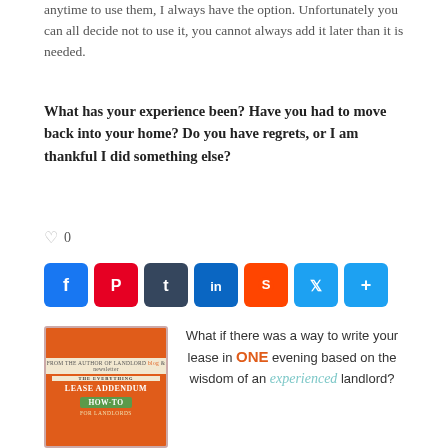anytime to use them, I always have the option. Unfortunately you can all decide not to use it, you cannot always add it later than it is needed.
What has your experience been? Have you had to move back into your home? Do you have regrets, or I am thankful I did something else?
♡ 0
[Figure (infographic): Social sharing buttons: Facebook, Pinterest, Tumblr, LinkedIn, Reddit, Twitter, Share]
[Figure (infographic): Book cover for 'The Everything Lease Addendum How-To for Landlords' on orange background, next to ad text: What if there was a way to write your lease in ONE evening based on the wisdom of an experienced landlord?]